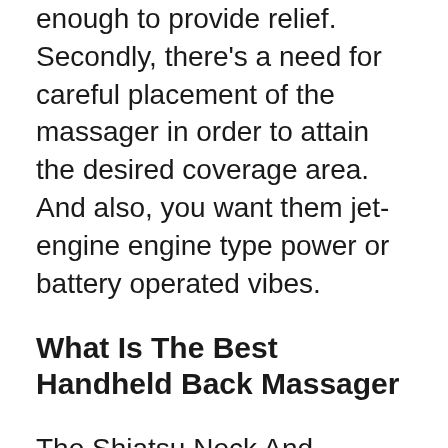enough to provide relief. Secondly, there's a need for careful placement of the massager in order to attain the desired coverage area. And also, you want them jet-engine engine type power or battery operated vibes.
What Is The Best Handheld Back Massager
The Shiatsu Neck And Shoulder Massager by Panasonic are most commonly used for neck and shoulder pain. It includes two